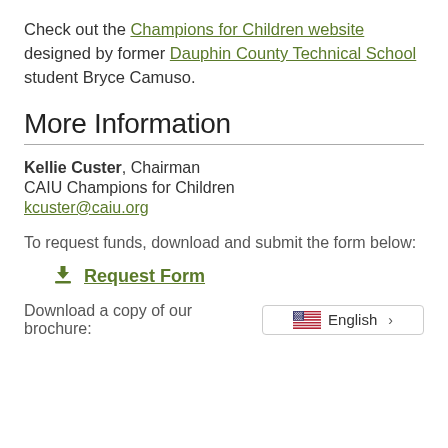Check out the Champions for Children website designed by former Dauphin County Technical School student Bryce Camuso.
More Information
Kellie Custer, Chairman
CAIU Champions for Children
kcuster@caiu.org
To request funds, download and submit the form below:
Request Form
Download a copy of our brochure: